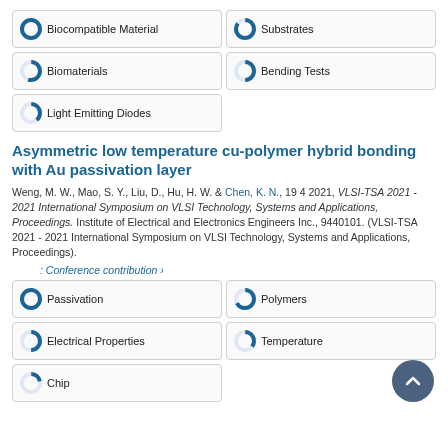Biocompatible Material
Substrates
Biomaterials
Bending Tests
Light Emitting Diodes
Asymmetric low temperature cu-polymer hybrid bonding with Au passivation layer
Weng, M. W., Mao, S. Y., Liu, D., Hu, H. W. & Chen, K. N., 19 4 2021, VLSI-TSA 2021 - 2021 International Symposium on VLSI Technology, Systems and Applications, Proceedings. Institute of Electrical and Electronics Engineers Inc., 9440101. (VLSI-TSA 2021 - 2021 International Symposium on VLSI Technology, Systems and Applications, Proceedings).
: Conference contribution ›
Passivation
Polymers
Electrical Properties
Temperature
Chip